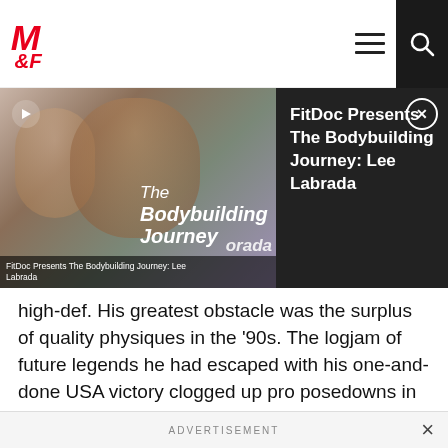M&F (Muscle & Fitness) navigation bar with logo, hamburger menu, and search icon
[Figure (screenshot): Video promo thumbnail showing two people and 'The Bodybuilding Journey' text overlay, with title 'FitDoc Presents The Bodybuilding Journey: Lee Labrada' on dark background, with close (X) button]
high-def. His greatest obstacle was the surplus of quality physiques in the '90s. The logjam of future legends he had escaped with his one-and-done USA victory clogged up pro posedowns in subsequent years. This made it difficult for Matarazzo to grow as popular with discerning judges as he was with his legion of fans.
His sixth-place finish in a deep field of 16 at the 1993 Arnold was arguably his greatest pro accomplishment. Another highlight was his
ADVERTISEMENT